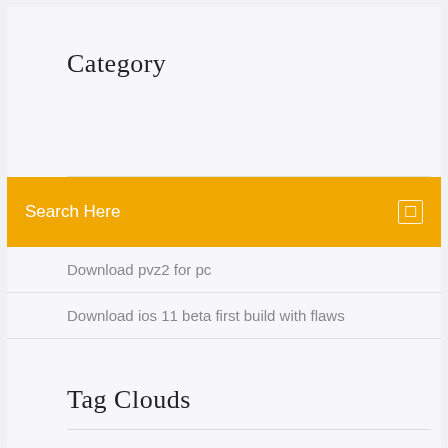Category
Search Here
Download pvz2 for pc
Download ios 11 beta first build with flaws
Tag Clouds